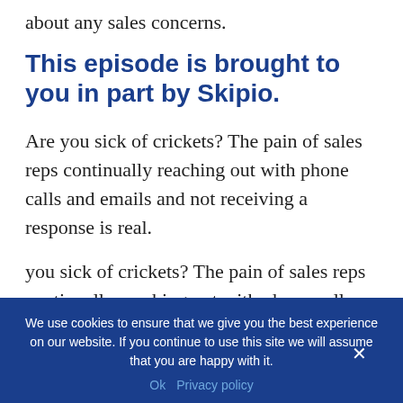about any sales concerns.
This episode is brought to you in part by Skipio.
Are you sick of crickets? The pain of sales reps continually reaching out with phone calls and emails and not receiving a response is real.
you sick of crickets? The pain of sales reps continually reaching out with phone calls
We use cookies to ensure that we give you the best experience on our website. If you continue to use this site we will assume that you are happy with it.
Ok   Privacy policy